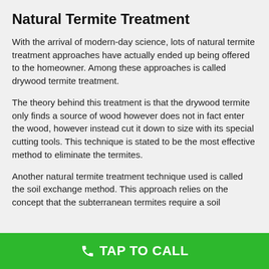Natural Termite Treatment
With the arrival of modern-day science, lots of natural termite treatment approaches have actually ended up being offered to the homeowner. Among these approaches is called drywood termite treatment.
The theory behind this treatment is that the drywood termite only finds a source of wood however does not in fact enter the wood, however instead cut it down to size with its special cutting tools. This technique is stated to be the most effective method to eliminate the termites.
Another natural termite treatment technique used is called the soil exchange method. This approach relies on the concept that the subterranean termites require a soil
TAP TO CALL